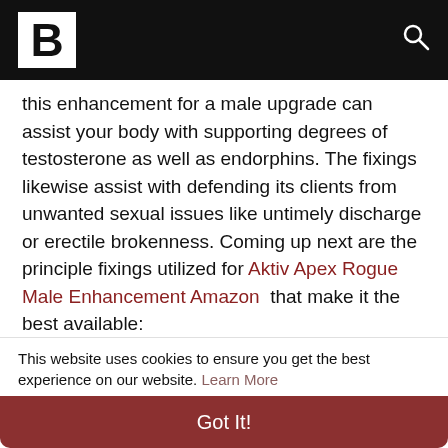B [logo] [search icon]
this enhancement for a male upgrade can assist your body with supporting degrees of testosterone as well as endorphins. The fixings likewise assist with defending its clients from unwanted sexual issues like untimely discharge or erectile brokenness. Coming up next are the principle fixings utilized for Aktiv Apex Rogue Male Enhancement Amazon  that make it the best available:
L-Arginine
Pine Bark Extract
This website uses cookies to ensure you get the best experience on our website. Learn More
Got It!